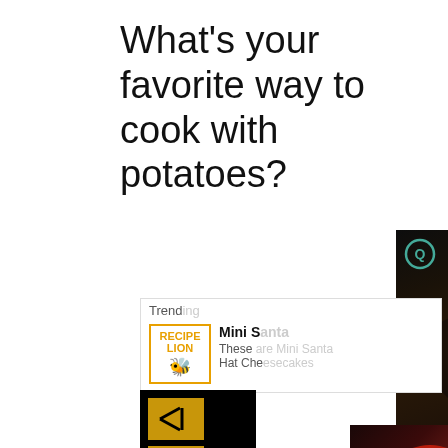What’s your favorite way to cook with potatoes?
[Figure (screenshot): Screenshot of a website showing a trending recipe card from Recipe Lion about Mini Santa Hat Cheesecakes, overlaid with a video player showing Caramel Apple Dump Cake, a muted audio button, and photos of mini santa hat cheesecakes and a blurred background image.]